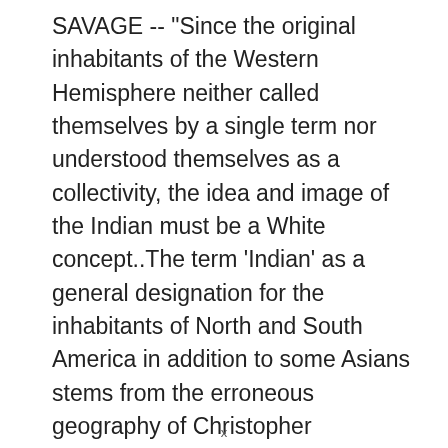SAVAGE -- "Since the original inhabitants of the Western Hemisphere neither called themselves by a single term nor understood themselves as a collectivity, the idea and image of the Indian must be a White concept..The term 'Indian' as a general designation for the inhabitants of North and South America in addition to some Asians stems from the erroneous geography of Christopher Columbus. Under the impression he had landed among the
x